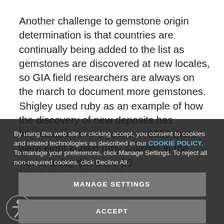Another challenge to gemstone origin determination is that countries are continually being added to the list as gemstones are discovered at new locales, so GIA field researchers are always on the march to document more gemstones. Shigley used ruby as an example of how the discovery of new deposits has increased over the years: in 1950 there were eight known ruby sources in the world, today there are 30.
By using this web site or clicking accept, you consent to cookies and related technologies as described in our COOKIE POLICY. To manage your preferences, click Manage Settings. To reject all non-required cookies, click Decline All.
for an origin report," he said. "The challenge is the growing number of localities with very dif... with very similar geol...
database... ion. tones for comparison with client stones for country of origin services. Each expedition expands the data base...